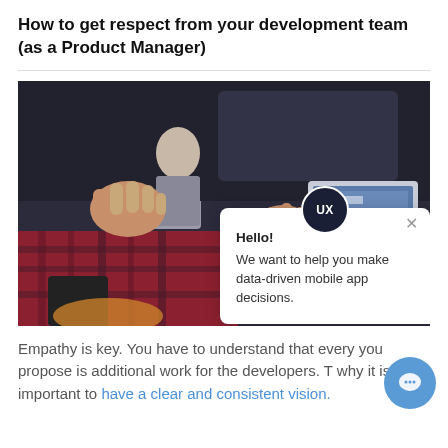How to get respect from your development team (as a Product Manager)
[Figure (photo): Photo of people in a meeting; a person in a plaid shirt gesturing with hands, another person visible in background, a laptop visible on the right. A chat widget popup overlay shows: 'UX' avatar, Hello!, We want to help you make data-driven mobile app decisions.]
Empathy is key. You have to understand that every you propose is additional work for the developers. T why it is important to have a clear and consistent vision.